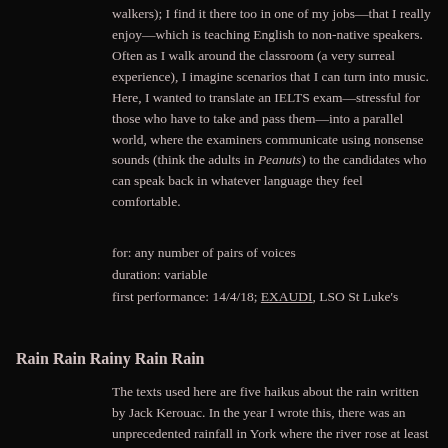walkers); I find it there too in one of my jobs—that I really enjoy—which is teaching English to non-native speakers. Often as I walk around the classroom (a very surreal experience), I imagine scenarios that I can turn into music. Here, I wanted to translate an IELTS exam—stressful for those who have to take and pass them—into a parallel world, where the examiners communicate using nonsense sounds (think the adults in Peanuts) to the candidates who can speak back in whatever language they feel comfortable.
for: any number of pairs of voices
duration: variable
first performance: 14/4/18; EXAUDI, LSO St Luke's
Rain Rain Rainy Rain Rain
The texts used here are five haikus about the rain written by Jack Kerouac. In the year I wrote this, there was an unprecedented rainfall in York where the river rose at least 20 feet over its average. It was commissioned by the Hilliard Ensemble.
for: countertenor, two tenors, baritone
duration: 4'12"
first performance: 8/12/00; the Hilliard Ensemble at Kuoroespoo, Finland